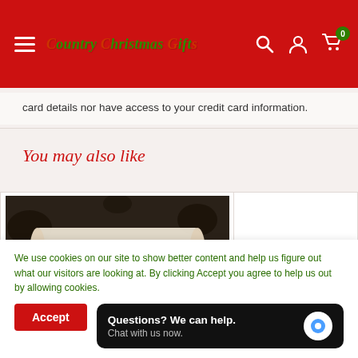Country Christmas Gifts - Navigation bar with hamburger menu, logo, search, account, and cart icons
card details nor have access to your credit card information.
You may also like
[Figure (photo): Product image showing a scroll or banner with text 'Enjoy the Moment' with a dark floral background]
We use cookies on our site to show better content and help us figure out what our visitors are looking at. By clicking Accept you agree to help us out by allowing cookies.